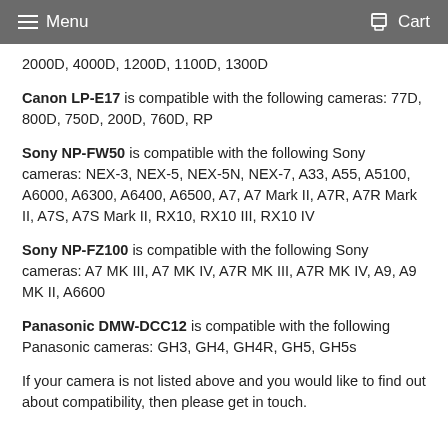Menu  Cart
2000D, 4000D, 1200D, 1100D, 1300D
Canon LP-E17 is compatible with the following cameras: 77D, 800D, 750D, 200D, 760D, RP
Sony NP-FW50 is compatible with the following Sony cameras: NEX-3, NEX-5, NEX-5N, NEX-7, A33, A55, A5100, A6000, A6300, A6400, A6500, A7, A7 Mark II, A7R, A7R Mark II, A7S, A7S Mark II, RX10, RX10 III, RX10 IV
Sony NP-FZ100 is compatible with the following Sony cameras: A7 MK III, A7 MK IV, A7R MK III, A7R MK IV, A9, A9 MK II, A6600
Panasonic DMW-DCC12 is compatible with the following Panasonic cameras: GH3, GH4, GH4R, GH5, GH5s
If your camera is not listed above and you would like to find out about compatibility, then please get in touch.